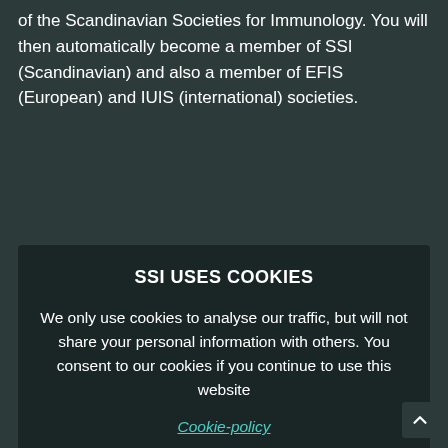of the Scandinavian Societies for Immunology. You will then automatically become a member of SSI (Scandinavian) and also a member of EFIS (European) and IUIS (international) societies.
— Grants
SSI USES COOKIES
We only use cookies to analyse our traffic, but will not share your personal information with others. You consent to our cookies if you continue to use this website
Cookie-policy
Accept
Reject
Apply now for Travel Grants for the 48th Annual Meeting of the Scandinavian Societies for Scandinavian Exchange.